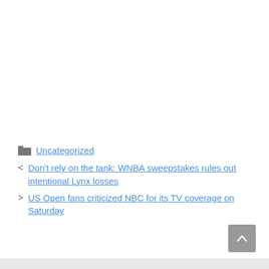Uncategorized
Don't rely on the tank: WNBA sweepstakes rules out intentional Lynx losses
US Open fans criticized NBC for its TV coverage on Saturday